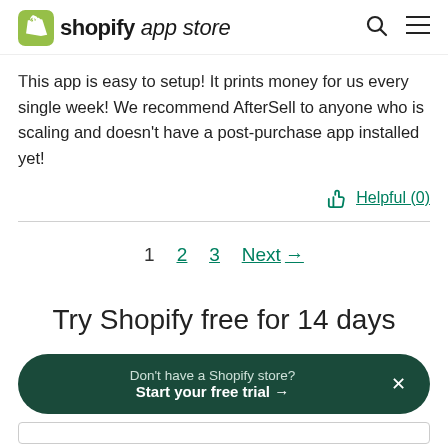shopify app store
This app is easy to setup! It prints money for us every single week! We recommend AfterSell to anyone who is scaling and doesn't have a post-purchase app installed yet!
Helpful (0)
1  2  3  Next →
Try Shopify free for 14 days
Don't have a Shopify store? Start your free trial →